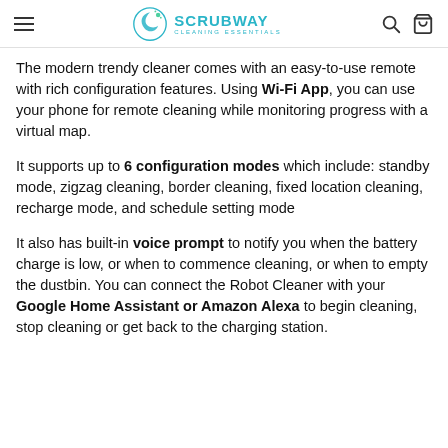SCRUBWAY CLEANING ESSENTIALS
The modern trendy cleaner comes with an easy-to-use remote with rich configuration features. Using Wi-Fi App, you can use your phone for remote cleaning while monitoring progress with a virtual map.
It supports up to 6 configuration modes which include: standby mode, zigzag cleaning, border cleaning, fixed location cleaning, recharge mode, and schedule setting mode
It also has built-in voice prompt to notify you when the battery charge is low, or when to commence cleaning, or when to empty the dustbin. You can connect the Robot Cleaner with your Google Home Assistant or Amazon Alexa to begin cleaning,  stop cleaning or get back to the charging station.